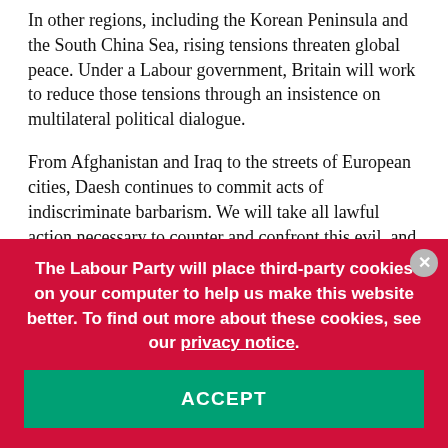In other regions, including the Korean Peninsula and the South China Sea, rising tensions threaten global peace. Under a Labour government, Britain will work to reduce those tensions through an insistence on multilateral political dialogue.
From Afghanistan and Iraq to the streets of European cities, Daesh continues to commit acts of indiscriminate barbarism. We will take all lawful action necessary to counter and confront this evil, and we will advocate a long-term multinational political strategy, led by regional actors, to tackle the spread of extremism.
The Labour Party will place third-party cookies on your computer to help us make this website better. To find out more about these cookies, see our privacy notice.
ACCEPT